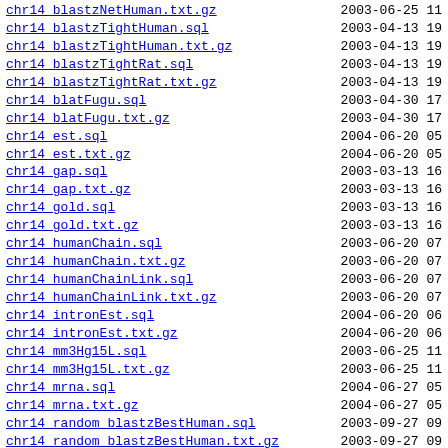chr14_blastzNetHuman.txt.gz  2003-06-25 11
chr14_blastzTightHuman.sql  2003-04-13 19
chr14_blastzTightHuman.txt.gz  2003-04-13 19
chr14_blastzTightRat.sql  2003-04-13 19
chr14_blastzTightRat.txt.gz  2003-04-13 19
chr14_blatFugu.sql  2003-04-30 17
chr14_blatFugu.txt.gz  2003-04-30 17
chr14_est.sql  2004-06-20 05
chr14_est.txt.gz  2004-06-20 05
chr14_gap.sql  2003-03-13 16
chr14_gap.txt.gz  2003-03-13 16
chr14_gold.sql  2003-03-13 16
chr14_gold.txt.gz  2003-03-13 16
chr14_humanChain.sql  2003-06-20 07
chr14_humanChain.txt.gz  2003-06-20 07
chr14_humanChainLink.sql  2003-06-20 07
chr14_humanChainLink.txt.gz  2003-06-20 07
chr14_intronEst.sql  2004-06-20 06
chr14_intronEst.txt.gz  2004-06-20 06
chr14_mm3Hg15L.sql  2003-06-25 11
chr14_mm3Hg15L.txt.gz  2003-06-25 11
chr14_mrna.sql  2004-06-27 05
chr14_mrna.txt.gz  2004-06-27 05
chr14_random_blastzBestHuman.sql  2003-09-27 09
chr14_random_blastzBestHuman.txt.gz  2003-09-27 09
chr14_random_blastzBestRat.sql  2003-04-13 19
chr14_random_blastzBestRat.txt.gz  2003-04-13 19
chr14_random_blastzTightHuman.sql  2003-04-13 19
chr14_random_blastzTightHuman.txt.gz  2003-04-13 19
chr14_random_blastzTightRat.sql  2003-04-13 19